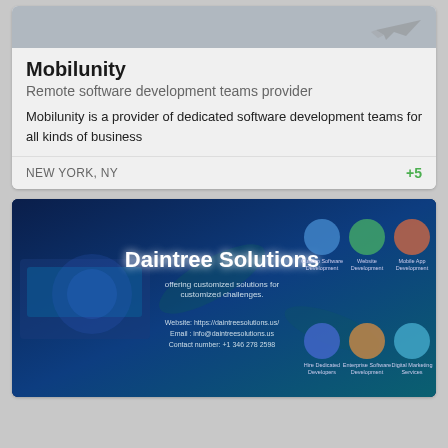[Figure (screenshot): Mobilunity card top image with grey background and faint airplane icon]
Mobilunity
Remote software development teams provider
Mobilunity is a provider of dedicated software development teams for all kinds of business
NEW YORK, NY
+5
[Figure (screenshot): Daintree Solutions banner image with dark blue background showing company name, services icons for Custom Software Development, Website Development, Mobile App Development, Hire Dedicated Developers, Enterprise Software Development, Digital Marketing Services, and contact info]